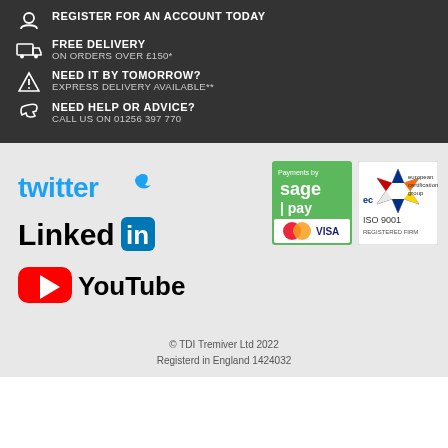REGISTER FOR AN ACCOUNT TODAY
FREE DELIVERY
ON ORDERS OVER £150*
NEED IT BY TOMORROW?
EXPRESS DELIVERY AVAILABLE**
NEED HELP OR ADVICE?
CALL US ON 01256 397 770
[Figure (logo): Twitter logo in blue]
[Figure (logo): LinkedIn logo]
[Figure (logo): YouTube logo]
[Figure (logo): Sage Pay payment badge with Mastercard and Visa logos]
[Figure (logo): European Certification Group ISO 9001 Registered Firm badge]
© TDI Tremiver Ltd 2022
Registerd in England 1424032